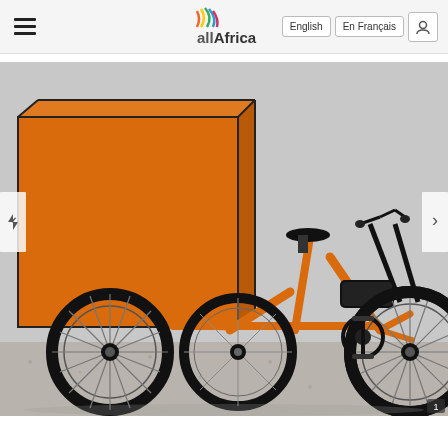allAfrica | English | En Français
[Figure (photo): An orange electric cargo tricycle (e-trike) with a large orange box on the front two wheels and a single rear wheel. The frame is orange, and the bike has handlebars, a seat, and a black motor battery pack. The background is light gray/white gravel ground.]